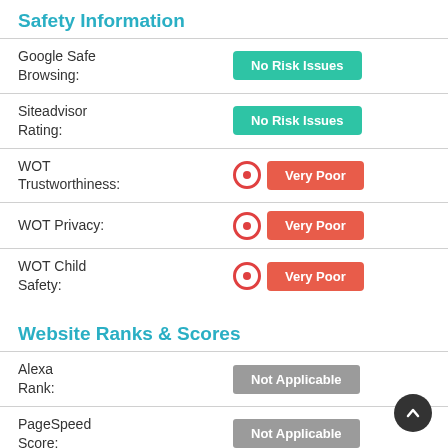Safety Information
|  |  |
| --- | --- |
| Google Safe Browsing: | No Risk Issues |
| Siteadvisor Rating: | No Risk Issues |
| WOT Trustworthiness: | Very Poor |
| WOT Privacy: | Very Poor |
| WOT Child Safety: | Very Poor |
Website Ranks & Scores
|  |  |
| --- | --- |
| Alexa Rank: | Not Applicable |
| PageSpeed Score: | Not Applicable |
| Domain | Not Applicable |